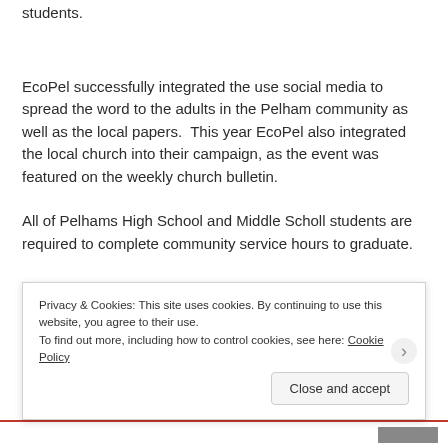students.
EcoPel successfully integrated the use social media to spread the word to the adults in the Pelham community as well as the local papers.  This year EcoPel also integrated the local church into their campaign, as the event was featured on the weekly church bulletin.
All of Pelhams High School and Middle Scholl students are required to complete community service hours to graduate.
Privacy & Cookies: This site uses cookies. By continuing to use this website, you agree to their use.
To find out more, including how to control cookies, see here: Cookie Policy
Close and accept